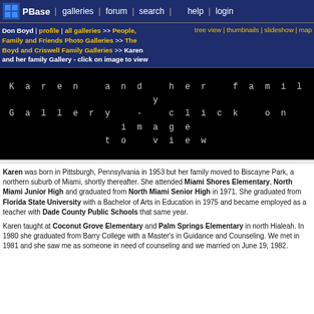PBase | galleries | forum | search | help | login
Don Boyd | profile | all galleries >> People, Family and Friends Photo Galleries >> The Boyd and Criswell Family Galleries >> Karen and her family Gallery - click on image to view
tree view | thumbnails | slideshow | map
[Figure (screenshot): Black banner with spaced white text reading: Karen and her family Gallery - click on image to view]
Karen was born in Pittsburgh, Pennsylvania in 1953 but her family moved to Biscayne Park, a northern suburb of Miami, shortly thereafter. She attended Miami Shores Elementary, North Miami Junior High and graduated from North Miami Senior High in 1971. She graduated from Florida State University with a Bachelor of Arts in Education in 1975 and became employed as a teacher with Dade County Public Schools that same year.
Karen taught at Coconut Grove Elementary and Palm Springs Elementary in north Hialeah. In 1980 she graduated from Barry College with a Master's in Guidance and Counseling. We met in 1981 and she saw me as someone in need of counseling and we married on June 19, 1982.